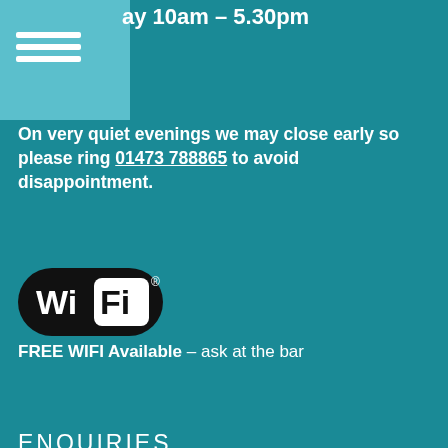ay 10am - 5.30pm
On very quiet evenings we may close early so please ring 01473 788865 to avoid disappointment.
[Figure (logo): WiFi logo badge - black rounded rectangle with Wi and Fi text, Fi in white box]
FREE WIFI Available - ask at the bar
ENQUIRIES
Please feel free to call us on 01473 788865
OTHER EAST COAST MARINAS SITES